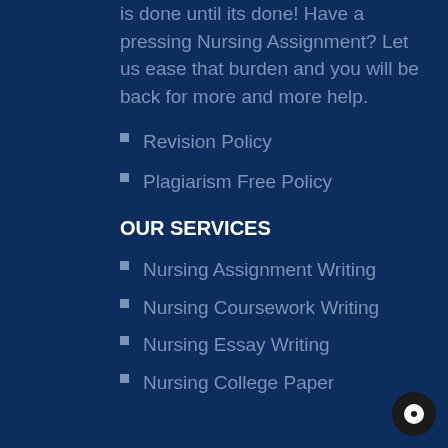is done until its done! Have a pressing Nursing Assignment? Let us ease that burden and you will be back for more and more help.
Revision Policy
Plagiarism Free Policy
OUR SERVICES
Nursing Assignment Writing
Nursing Coursework Writing
Nursing Essay Writing
Nursing College Paper